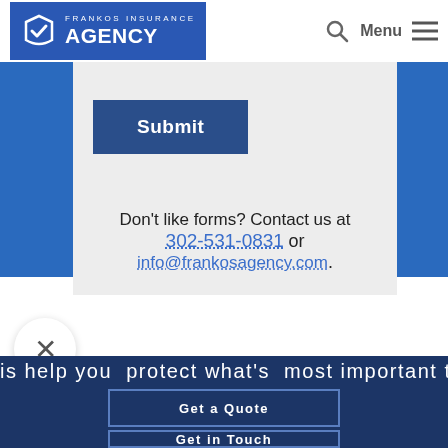[Figure (logo): Frankos Insurance Agency logo with blue background and checkmark shield icon]
Submit
Don't like forms? Contact us at 302-531-0831 or info@frankosagency.com.
is help you protect what's most important to yo
Get a Quote
Get in Touch